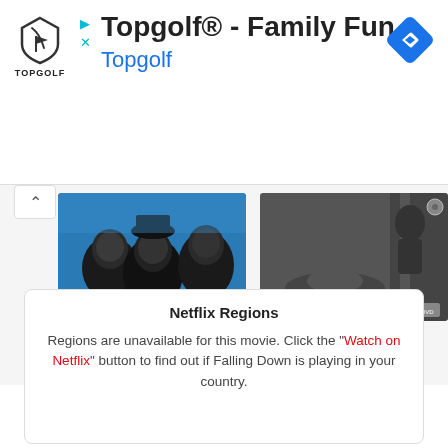[Figure (screenshot): Topgolf advertisement banner with logo, title 'Topgolf® - Family Fun', subtitle 'Topgolf' in blue, navigation arrow icon]
[Figure (photo): Movie thumbnail for Ballkoni - three men looking upward against blue sky background, black and white film poster style]
Ballkoni
2013 • 20 min
[Figure (photo): Movie thumbnail for The Blue Lamp - dark dramatic scene, black and white film]
The Blue Lamp
1950 • 84 min
Netflix Regions
Regions are unavailable for this movie. Click the "Watch on Netflix" button to find out if Falling Down is playing in your country.